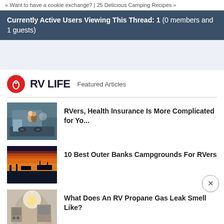« Want to have a cookie exchange? | 25 Delicious Camping Recipes »
Currently Active Users Viewing This Thread: 1 (0 members and 1 guests)
[Figure (other): RV LIFE logo with red location pin icon, followed by 'Featured Articles' text]
[Figure (photo): Couple hugging in front of RV]
RVers, Health Insurance Is More Complicated for Yo...
[Figure (photo): Sunset over marina/campground with boats]
10 Best Outer Banks Campgrounds For RVers
[Figure (photo): Interior of RV with propane appliances and light]
What Does An RV Propane Gas Leak Smell Like?